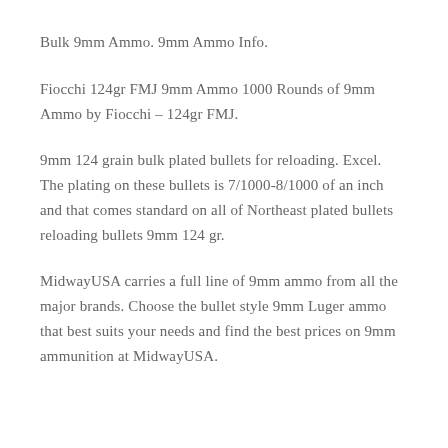Bulk 9mm Ammo. 9mm Ammo Info.
Fiocchi 124gr FMJ 9mm Ammo 1000 Rounds of 9mm Ammo by Fiocchi – 124gr FMJ.
9mm 124 grain bulk plated bullets for reloading. Excel. The plating on these bullets is 7/1000-8/1000 of an inch and that comes standard on all of Northeast plated bullets reloading bullets 9mm 124 gr.
MidwayUSA carries a full line of 9mm ammo from all the major brands. Choose the bullet style 9mm Luger ammo that best suits your needs and find the best prices on 9mm ammunition at MidwayUSA.